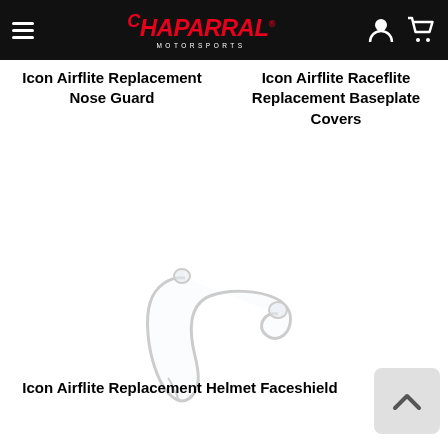Chaparral Motorsports
Icon Airflite Replacement Nose Guard
Icon Airflite Raceflite Replacement Baseplate Covers
[Figure (photo): White transparent faceshield/visor component for a motorcycle helmet]
Icon Airflite Replacement Helmet Faceshield